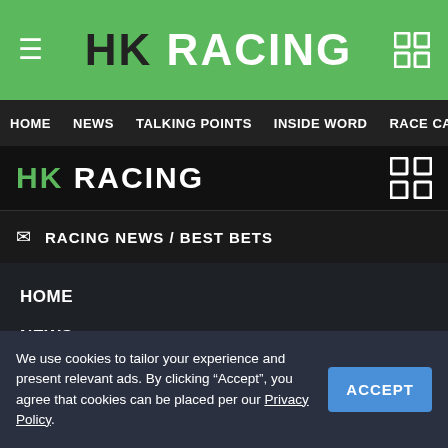HK RACING
HOME  NEWS  TALKING POINTS  INSIDE WORD  RACE CARD  RACE RESULTS
HK RACING
RACING NEWS / BEST BETS
HOME
NEWS
TALKING POINTS
INSIDE WORD
RACE CARD  - WET WET WET
- HORSE CHANGES
We use cookies to tailor your experience and present relevant ads. By clicking “Accept”, you agree that cookies can be placed per our Privacy Policy.